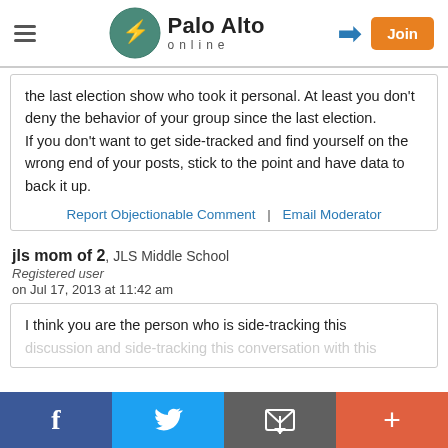Palo Alto online
the last election show who took it personal. At least you don't deny the behavior of your group since the last election.
If you don't want to get side-tracked and find yourself on the wrong end of your posts, stick to the point and have data to back it up.
Report Objectionable Comment | Email Moderator
jls mom of 2, JLS Middle School
Registered user
on Jul 17, 2013 at 11:42 am
I think you are the person who is side-tracking this